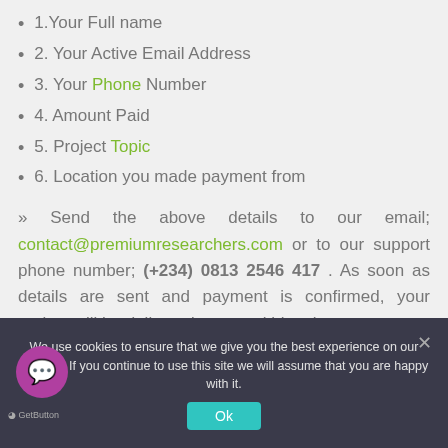1.Your Full name
2. Your Active Email Address
3. Your Phone Number
4. Amount Paid
5. Project Topic
6. Location you made payment from
» Send the above details to our email; contact@premiumresearchers.com or to our support phone number; (+234) 0813 2546 417 . As soon as details are sent and payment is confirmed, your project will be delivered to you within minutes.
We use cookies to ensure that we give you the best experience on our website. If you continue to use this site we will assume that you are happy with it.